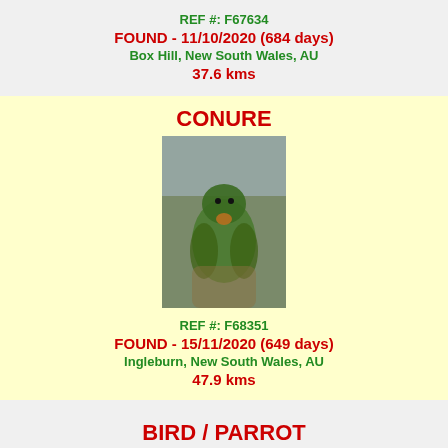REF #: F67634
FOUND - 11/10/2020 (684 days)
Box Hill, New South Wales, AU
37.6 kms
CONURE
[Figure (photo): Photo of a green conure bird]
REF #: F68351
FOUND - 15/11/2020 (649 days)
Ingleburn, New South Wales, AU
47.9 kms
BIRD / PARROT
[Figure (photo): Photo of a green parrot bird]